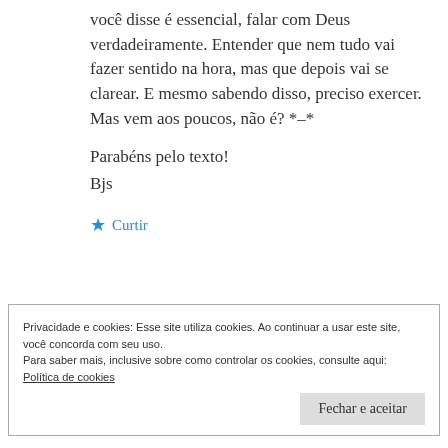você disse é essencial, falar com Deus verdadeiramente. Entender que nem tudo vai fazer sentido na hora, mas que depois vai se clarear. E mesmo sabendo disso, preciso exercer. Mas vem aos poucos, não é? *–*

Parabéns pelo texto!
Bjs
★ Curtir
Privacidade e cookies: Esse site utiliza cookies. Ao continuar a usar este site, você concorda com seu uso.
Para saber mais, inclusive sobre como controlar os cookies, consulte aqui: Política de cookies
Fechar e aceitar